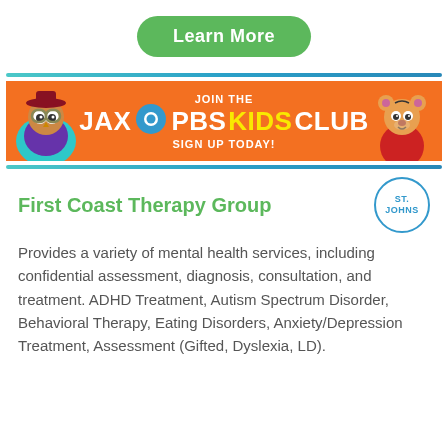[Figure (other): Green 'Learn More' button with white bold text and rounded pill shape]
[Figure (other): JAX PBS Kids Club advertisement banner with orange background, cartoon characters on each side, and text 'JOIN THE JAX PBS KIDS CLUB SIGN UP TODAY!']
First Coast Therapy Group
Provides a variety of mental health services, including confidential assessment, diagnosis, consultation, and treatment. ADHD Treatment, Autism Spectrum Disorder, Behavioral Therapy, Eating Disorders, Anxiety/Depression Treatment, Assessment (Gifted, Dyslexia, LD).